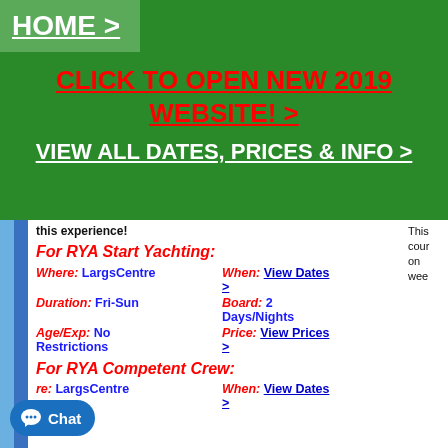HOME >
CLICK TO OPEN NEW 2019 WEBSITE! >
VIEW ALL DATES, PRICES & INFO >
this experience!
For RYA Start Yachting:
Where: LargsCentre   When: View Dates >   Duration: Fri-Sun   Board: 2 Days/Nights   Age/Exp: No Restrictions   Price: View Prices >
For RYA Competent Crew:
re: LargsCentre   When: View Dates >